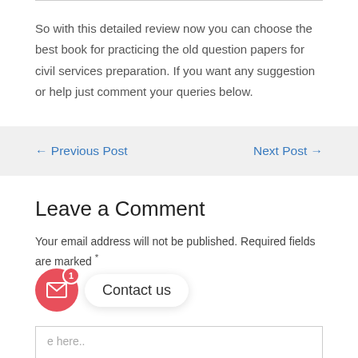So with this detailed review now you can choose the best book for practicing the old question papers for civil services preparation. If you want any suggestion or help just comment your queries below.
← Previous Post
Next Post →
Leave a Comment
Your email address will not be published. Required fields are marked *
[Figure (other): Contact us widget with red circular email icon button (with badge showing '1') and a 'Contact us' popup tooltip]